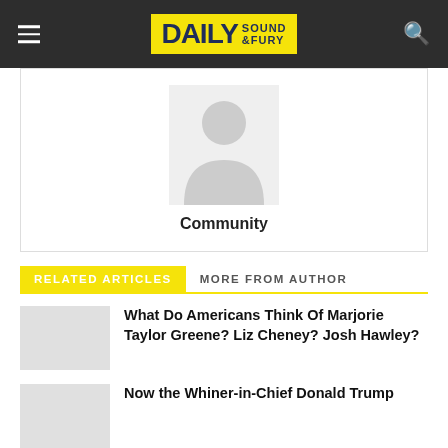DAILY SOUND & FURY
[Figure (illustration): Default avatar / placeholder person silhouette icon in a light gray square]
Community
RELATED ARTICLES   MORE FROM AUTHOR
What Do Americans Think Of Marjorie Taylor Greene? Liz Cheney? Josh Hawley?
Now the Whiner-in-Chief Donald Trump